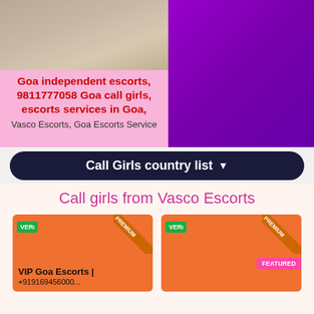[Figure (photo): Photo of woman's lower body in jeans and heels near rocks]
Goa independent escorts, 9811777058 Goa call girls, escorts services in Goa,
Vasco Escorts, Goa Escorts Service
Call Girls country list ▾
Call girls from Vasco Escorts
VIP Goa Escorts | ...
VERIFIED PREMIUM
VERIFIED PREMIUM FEATURED